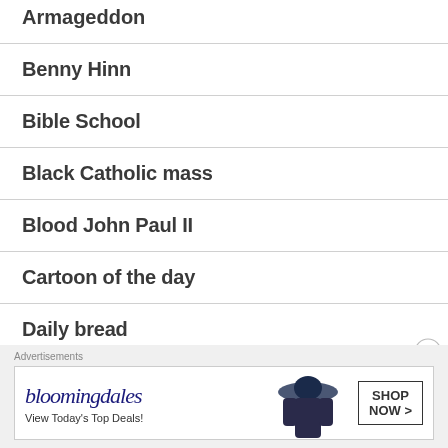Armageddon
Benny Hinn
Bible School
Black Catholic mass
Blood John Paul II
Cartoon of the day
Daily bread
[Figure (screenshot): Bloomingdales advertisement banner with logo, 'View Today's Top Deals!' tagline, and 'SHOP NOW >' button, with a woman in a hat on the right side.]
Advertisements